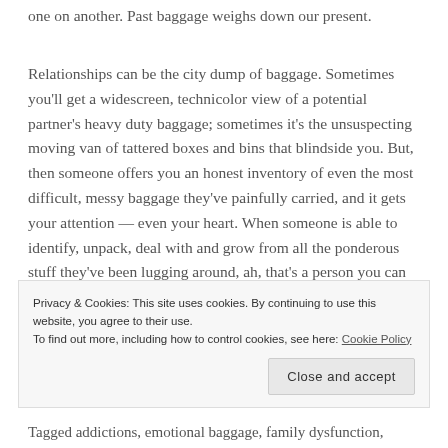one on another. Past baggage weighs down our present.
Relationships can be the city dump of baggage. Sometimes you'll get a widescreen, technicolor view of a potential partner's heavy duty baggage; sometimes it's the unsuspecting moving van of tattered boxes and bins that blindside you. But, then someone offers you an honest inventory of even the most difficult, messy baggage they've painfully carried, and it gets your attention — even your heart. When someone is able to identify, unpack, deal with and grow from all the ponderous stuff they've been lugging around, ah, that's a person you can trust and open your heart to. When you're able to introspectively shake out your own...
Privacy & Cookies: This site uses cookies. By continuing to use this website, you agree to their use. To find out more, including how to control cookies, see here: Cookie Policy
Tagged addictions, emotional baggage, family dysfunction,